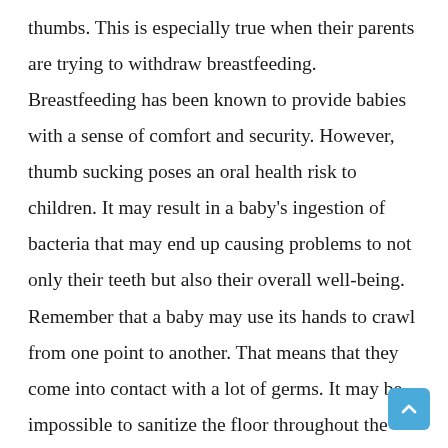thumbs. This is especially true when their parents are trying to withdraw breastfeeding. Breastfeeding has been known to provide babies with a sense of comfort and security. However, thumb sucking poses an oral health risk to children. It may result in a baby's ingestion of bacteria that may end up causing problems to not only their teeth but also their overall well-being. Remember that a baby may use its hands to crawl from one point to another. That means that they come into contact with a lot of germs. It may be impossible to sanitize the floor throughout the day. As such, it becomes vital for parents to introduce pacifiers to discourage thumb sucking. The pacifier may be cleaned in warm water and later disinfected making it safe for your